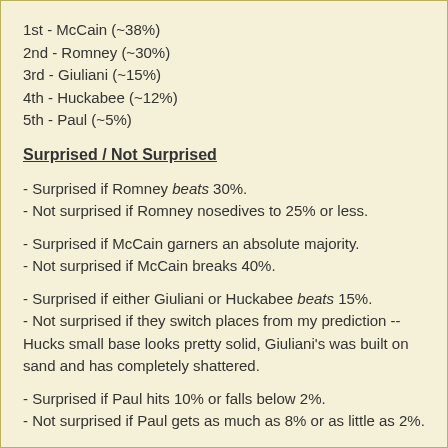1st - McCain (~38%)
2nd - Romney (~30%)
3rd - Giuliani (~15%)
4th - Huckabee (~12%)
5th - Paul (~5%)
Surprised / Not Surprised
- Surprised if Romney beats 30%.
- Not surprised if Romney nosedives to 25% or less.
- Surprised if McCain garners an absolute majority.
- Not surprised if McCain breaks 40%.
- Surprised if either Giuliani or Huckabee beats 15%.
- Not surprised if they switch places from my prediction -- Hucks small base looks pretty solid, Giuliani's was built on sand and has completely shattered.
- Surprised if Paul hits 10% or falls below 2%.
- Not surprised if Paul gets as much as 8% or as little as 2%.